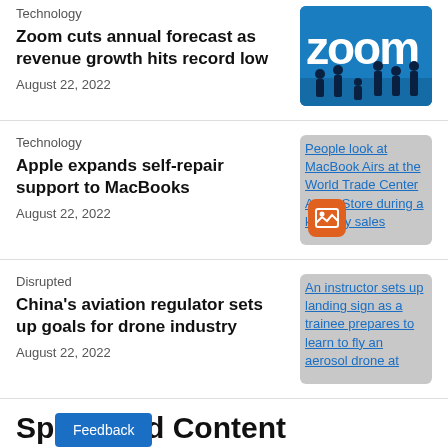Technology
Zoom cuts annual forecast as revenue growth hits record low
August 22, 2022
Technology
Apple expands self-repair support to MacBooks
August 22, 2022
Disrupted
China's aviation regulator sets up goals for drone industry
August 22, 2022
Sp___d Content